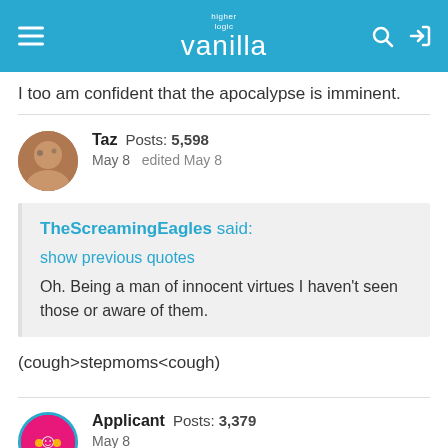higher logic vanilla
I too am confident that the apocalypse is imminent.
Taz  Posts: 5,598
May 8   edited May 8
TheScreamingEagles said:
show previous quotes
Oh. Being a man of innocent virtues I haven't seen those or aware of them.
(cough>stepmoms<cough)
Applicant  Posts: 3,379
May 8